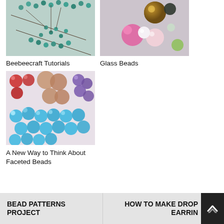[Figure (photo): Teal beaded necklace/bracelet being strung on dark thread against gray background]
Beebeecraft Tutorials
[Figure (photo): Close-up of various glass beads including pink, white, green, brown, and transparent beads]
Glass Beads
[Figure (photo): Colorful faceted beads including red, tan/peach teardrop shaped, purple, and blue circular beads]
A New Way to Think About Faceted Beads
BEAD PATTERNS PROJECT
HOW TO MAKE DROP EARRIN